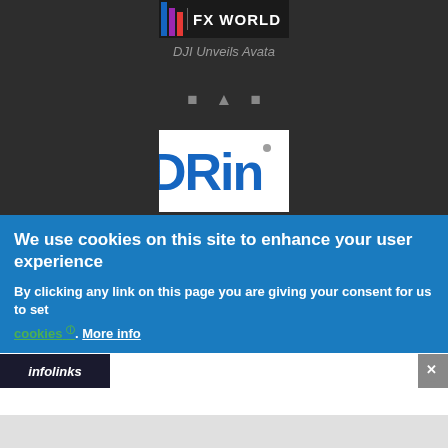[Figure (screenshot): Dark background top section with FX World banner logo and DJI Unveils Avata caption, social media icons, and DRin logo card]
DJI Unveils Avata
We use cookies on this site to enhance your user experience
By clicking any link on this page you are giving your consent for us to set cookies. More info
[Figure (logo): Infolinks logo bar with close button]